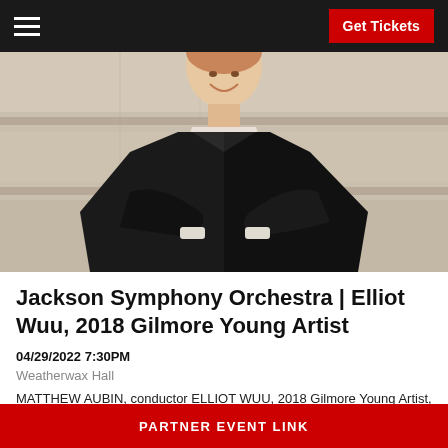Get Tickets
[Figure (photo): Young male musician in a dark suit with arms crossed, smiling, standing outdoors against a light architectural background]
Jackson Symphony Orchestra | Elliot Wuu, 2018 Gilmore Young Artist
04/29/2022 7:30PM
Weatherwax Hall
MATTHEW AUBIN, conductor ELLIOT WUU, 2018 Gilmore Young Artist, piano The Jackson Symphony Orchestra season finale features an inaugural collaboration [...]
PARTNER EVENT LINK